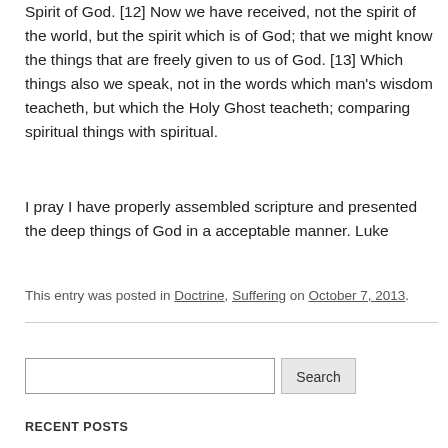Spirit of God. [12] Now we have received, not the spirit of the world, but the spirit which is of God; that we might know the things that are freely given to us of God. [13] Which things also we speak, not in the words which man's wisdom teacheth, but which the Holy Ghost teacheth; comparing spiritual things with spiritual.
I pray I have properly assembled scripture and presented the deep things of God in a acceptable manner. Luke
This entry was posted in Doctrine, Suffering on October 7, 2013.
RECENT POSTS